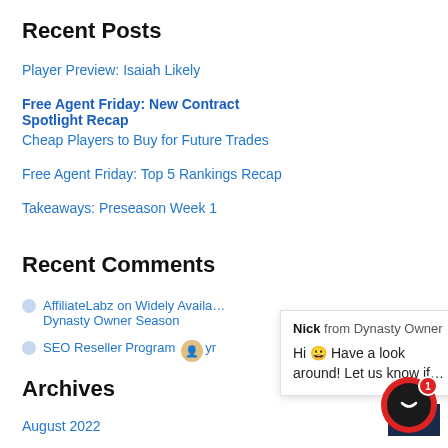Recent Posts
Player Preview: Isaiah Likely
Free Agent Friday: New Contract Spotlight Recap
Cheap Players to Buy for Future Trades
Free Agent Friday: Top 5 Rankings Recap
Takeaways: Preseason Week 1
Recent Comments
AffiliateLabz on Widely Available Dynasty Owner Season
SEO Reseller Program yr
Nick from Dynasty Owner
Hi 😀 Have a look around! Let us know if...
Archives
August 2022